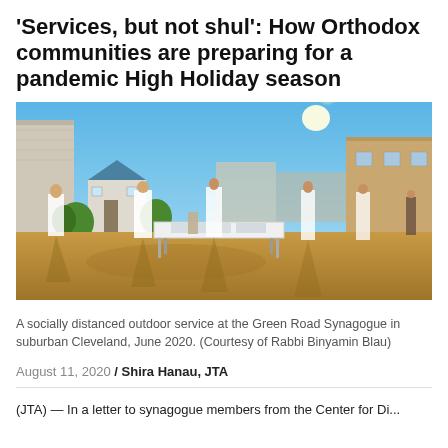'Services, but not shul': How Orthodox communities are preparing for a pandemic High Holiday season
[Figure (photo): A socially distanced outdoor prayer service at the Green Road Synagogue in suburban Cleveland, June 2020. People in tallitot (prayer shawls) stand spread apart in an outdoor area with a folding table. A small shed and buildings are visible in the background under a bright blue sky.]
A socially distanced outdoor service at the Green Road Synagogue in suburban Cleveland, June 2020. (Courtesy of Rabbi Binyamin Blau)
August 11, 2020 / Shira Hanau, JTA
(JTA) — In a letter to synagogue members from the Center for Di...